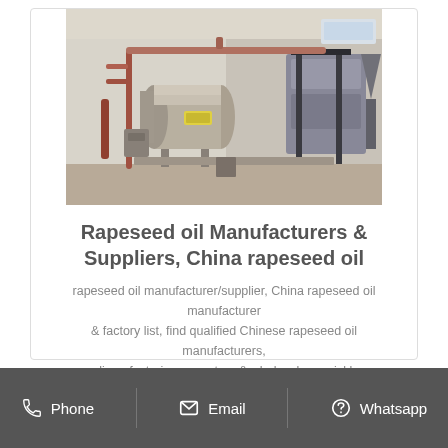[Figure (photo): Industrial rapeseed oil processing equipment inside a factory — large horizontal cylindrical pressure vessel, pipes, and other machinery visible.]
Rapeseed oil Manufacturers & Suppliers, China rapeseed oil
rapeseed oil manufacturer/supplier, China rapeseed oil manufacturer & factory list, find qualified Chinese rapeseed oil manufacturers, suppliers, factories, exporters & wholesalers quickly on
Get Price
Phone   Email   Whatsapp